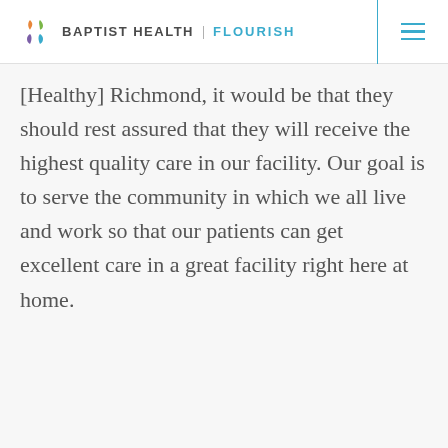BAPTIST HEALTH | FLOURISH
[Healthy] Richmond, it would be that they should rest assured that they will receive the highest quality care in our facility. Our goal is to serve the community in which we all live and work so that our patients can get excellent care in a great facility right here at home.